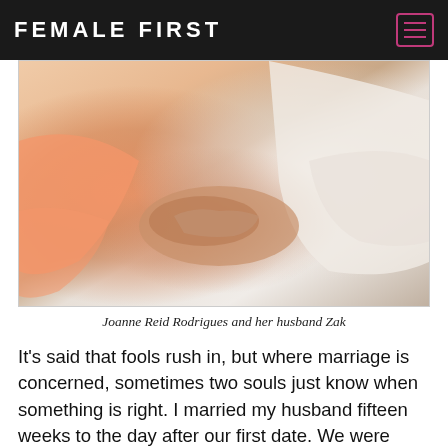FEMALE FIRST
[Figure (photo): Close-up photo of two people holding hands, one wearing an orange sleeve and the other a white sleeve, representing Joanne Reid Rodrigues and her husband Zak]
Joanne Reid Rodrigues and her husband Zak
It's said that fools rush in, but where marriage is concerned, sometimes two souls just know when something is right. I married my husband fifteen weeks to the day after our first date. We were young and people thought we were mad and told us it would never last, but we've just celebrated our thirty-third anniversary. The best thing about marrying young and quickly is that our love was uncomplicated - we each had nothing so we didn't desire each other's material status. Starting out together with nothing and carving a path in life that leads to prosperity and mutual growth